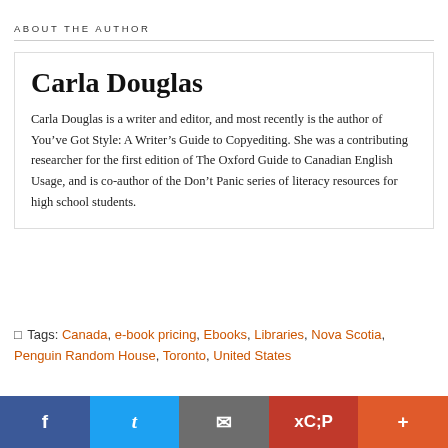ABOUT THE AUTHOR
Carla Douglas
Carla Douglas is a writer and editor, and most recently is the author of You’ve Got Style: A Writer’s Guide to Copyediting. She was a contributing researcher for the first edition of The Oxford Guide to Canadian English Usage, and is co-author of the Don’t Panic series of literacy resources for high school students.
□ Tags: Canada, e-book pricing, Ebooks, Libraries, Nova Scotia, Penguin Random House, Toronto, United States
Share buttons: Facebook, Twitter, Email, Pinterest, More